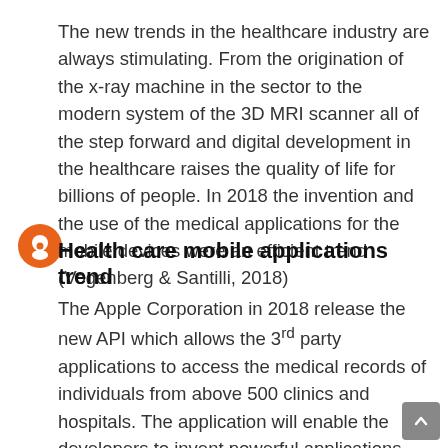The new trends in the healthcare industry are always stimulating. From the origination of the x-ray machine in the sector to the modern system of the 3D MRI scanner all of the step forward and digital development in the healthcare raises the quality of life for billions of people. In 2018 the invention and the use of the medical applications for the mobile devices were an efficient trend (Vogenberg & Santilli, 2018)
Health care mobile applications trend
The Apple Corporation in 2018 release the new API which allows the 3rd party applications to access the medical records of individuals from above 500 clinics and hospitals. The application will enable the developers to invent powerful applications that were infeasible previously. Through these mobile apps